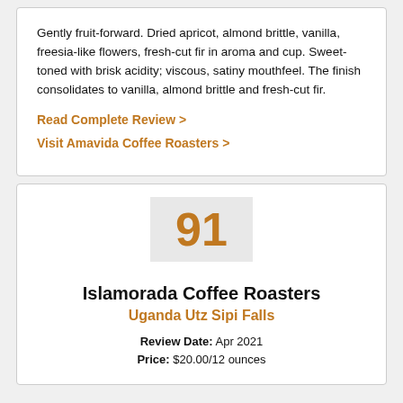Gently fruit-forward. Dried apricot, almond brittle, vanilla, freesia-like flowers, fresh-cut fir in aroma and cup. Sweet-toned with brisk acidity; viscous, satiny mouthfeel. The finish consolidates to vanilla, almond brittle and fresh-cut fir.
Read Complete Review >
Visit Amavida Coffee Roasters >
91
Islamorada Coffee Roasters
Uganda Utz Sipi Falls
Review Date: Apr 2021
Price: $20.00/12 ounces